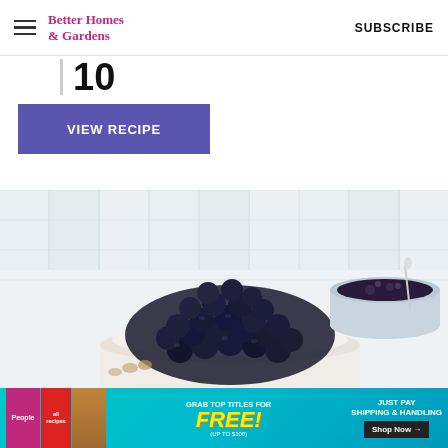Better Homes & Gardens  SUBSCRIBE
10
VIEW RECIPE
[Figure (photo): A cheesecake or dessert topped with a pile of fresh blueberries on a white wood plank surface, with a bowl of blueberry sauce on the right side. Ad label visible in lower right.]
[Figure (infographic): Advertisement banner: People and AllRecipes magazines with text 'Grab top titles for FREE! (Up to $100) Just pay shipping & handling. Shop Now →']